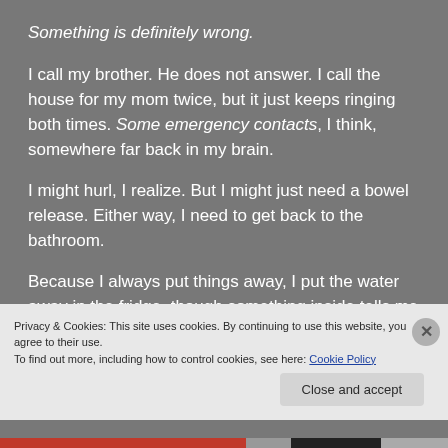Something is definitely wrong.
I call my brother. He does not answer. I call the house for my mom twice, but it just keeps ringing both times. Some emergency contacts, I think, somewhere far back in my brain.
I might hurl, I realize. But I might just need a bowel release. Either way, I need to get back to the bathroom.
Because I always put things away, I put the water away in the fridge, though something inside tells me too
Privacy & Cookies: This site uses cookies. By continuing to use this website, you agree to their use.
To find out more, including how to control cookies, see here: Cookie Policy
Close and accept